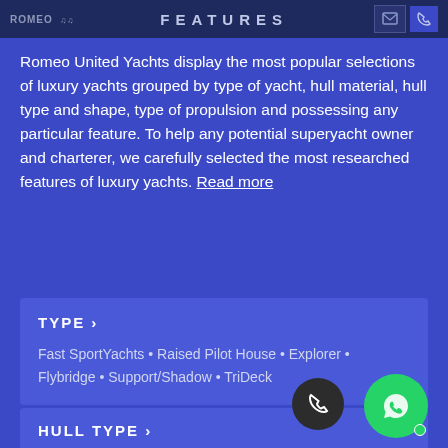ROMEO | FEATURES
Romeo United Yachts display the most popular selections of luxury yachts grouped by type of yacht, hull material, hull type and shape, type of propulsion and possessing any particular feature. To help any potential superyacht owner and charterer, we carefully selected the most researched features of luxury yachts. Read more
TYPE >
Fast SportYachts • Raised Pilot House • Explorer • Flybridge • Support/Shadow • TriDeck
HULL TYPE >